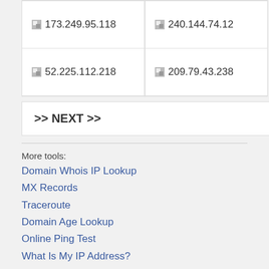| 173.249.95.118 | 240.144.74.12 |
| 52.225.112.218 | 209.79.43.238 |
>> NEXT >>
More tools:
Domain Whois IP Lookup
MX Records
Traceroute
Domain Age Lookup
Online Ping Test
What Is My IP Address?
AnonLinkChecker.com - Website Link Analyzer - Link checker and Source Co